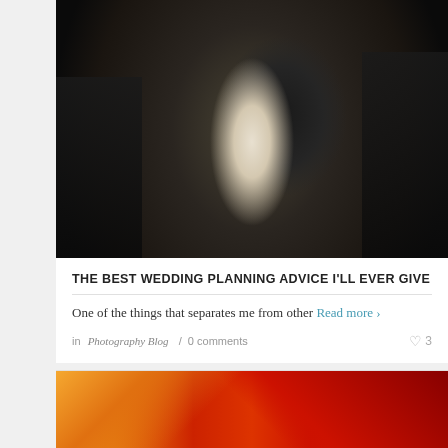[Figure (photo): Wedding photo of bride and groom kissing, surrounded by applauding guests in formal attire]
THE BEST WEDDING PLANNING ADVICE I'LL EVER GIVE
One of the things that separates me from other Read more ›
in Photography Blog / 0 comments ♡ 3
[Figure (photo): Partial view of colorful abstract or artistic image in orange and red tones]